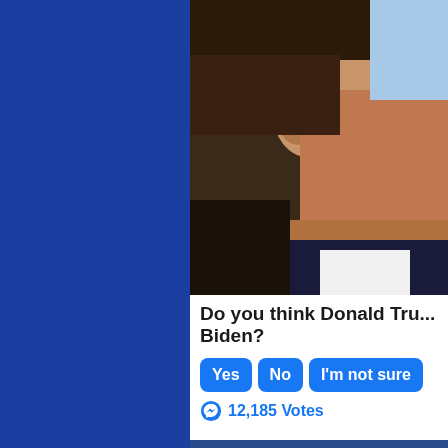[Figure (photo): Left side: solid royal blue background panel]
[Figure (photo): Close-up side profile photo of a man's face and ear, with dark hair, appearing to be a political figure, against a bright background]
Do you think Donald Tru... Biden?
Yes  No  I'm not sure
12,185 Votes
[Figure (photo): Bottom photo showing the top of a younger man's head with brown hair, appearing in front of an American flag]